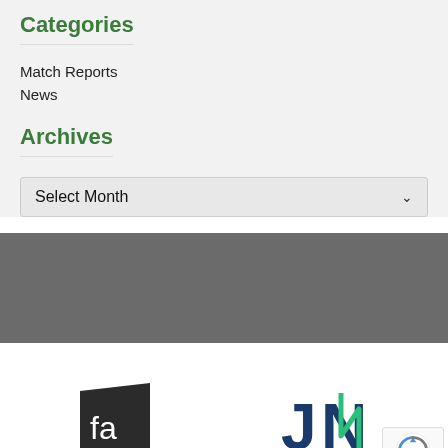Categories
Match Reports
News
Archives
Select Month
[Figure (logo): futuro automation logo - dark square with 'fa' text in white]
[Figure (logo): James Newbury logo - JN letters in dark blue and teal]
futuro automation
James Newbury